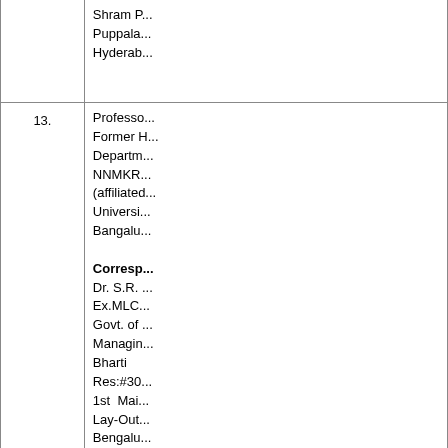|  | No. | Details |
| --- | --- | --- |
|  |  | Shram P...
Puppala...
Hyderab... |
|  | 13. | Professor...
Former H...
Departm...
NNMKR...
(affiliated...
Universi...
Bangalu...

Corresp...
Dr. S.R....
Ex.MLC...
Govt. of...
Managin...
Bharti
Res:#30...
1st Mai...
Lay-Out...
Bengalu... |
|  | 14. | Professo...
Departm...
North-Ea...
Umshing...
Shillong...
Meghala... |